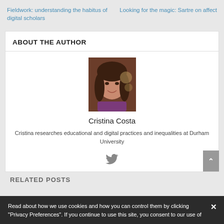Fieldwork: understanding the habitus of digital scholars
Looking for the magic: Sartre on affect
ABOUT THE AUTHOR
[Figure (photo): Portrait photo of Cristina Costa, a young woman with dark hair and bangs, wearing a purple top]
Cristina Costa
Cristina researches educational and digital practices and inequalities at Durham University
[Figure (other): Twitter bird icon]
RELATED POSTS
Read about how we use cookies and how you can control them by clicking "Privacy Preferences". If you continue to use this site, you consent to our use of